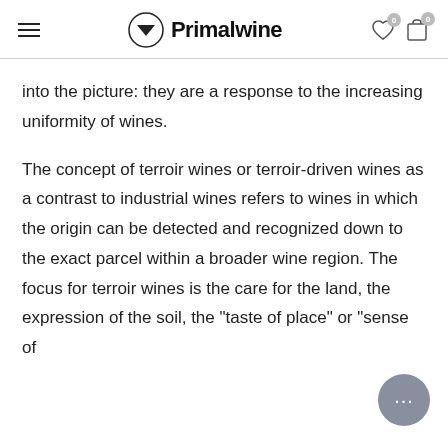Primalwine
into the picture: they are a response to the increasing uniformity of wines.
The concept of terroir wines or terroir-driven wines as a contrast to industrial wines refers to wines in which the origin can be detected and recognized down to the exact parcel within a broader wine region. The focus for terroir wines is the care for the land, the expression of the soil, the "taste of place" or "sense of